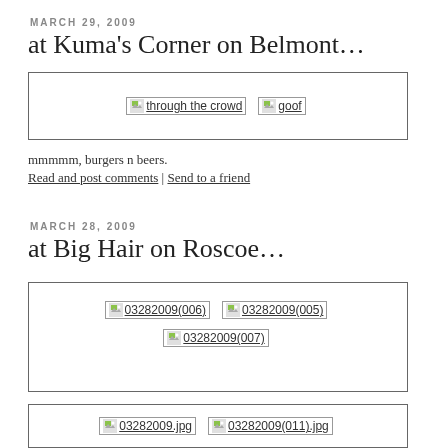MARCH 29, 2009
at Kuma's Corner on Belmont…
[Figure (photo): Gallery box with two broken image placeholders: 'through the crowd' and 'goof']
mmmmm, burgers n beers.
Read and post comments | Send to a friend
MARCH 28, 2009
at Big Hair on Roscoe…
[Figure (photo): Gallery box with three broken image placeholders: '03282009(006)', '03282009(005)', '03282009(007)']
[Figure (photo): Gallery box with two broken image placeholders: '03282009.jpg', '03282009(011).jpg']